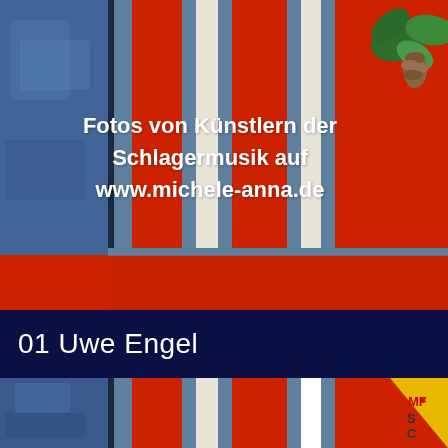[Figure (photo): Top photo showing a stage backdrop with red, white and steel-blue vertical stripes, a blue marbled panel on the left, and a plant with leaves and a pine cone in the upper right corner. The scene has a red floor/surface at the bottom.]
Fotos von Künstlern der Schlagermusik auf www.michele-anna.de
01 Uwe Engel
[Figure (photo): Bottom photo showing the same stage backdrop with red, white and steel-blue vertical stripes and a blue marbled panel on the left. On the right edge is a yellow/gold angled surface with 'MF' and a heart symbol, and partial letters 'S C' below.]